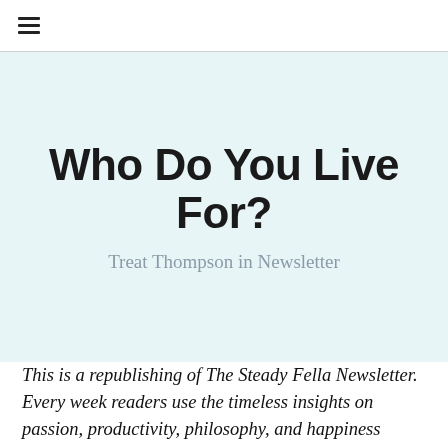≡
Who Do You Live For?
Treat Thompson in Newsletter
This is a republishing of The Steady Fella Newsletter. Every week readers use the timeless insights on passion, productivity, philosophy, and happiness